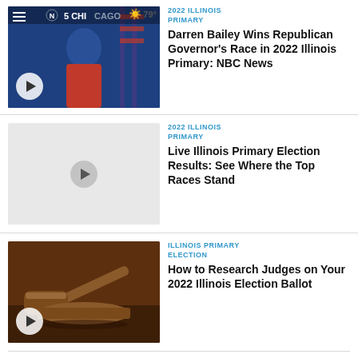[Figure (photo): News thumbnail showing a man in suit with American flags and NBC Chicago TV station branding. Weather badge showing 79° sunny.]
2022 ILLINOIS PRIMARY
Darren Bailey Wins Republican Governor's Race in 2022 Illinois Primary: NBC News
[Figure (photo): Gray placeholder thumbnail for video.]
2022 ILLINOIS PRIMARY
Live Illinois Primary Election Results: See Where the Top Races Stand
[Figure (photo): News thumbnail showing a wooden gavel on a sound block.]
ILLINOIS PRIMARY ELECTION
How to Research Judges on Your 2022 Illinois Election Ballot